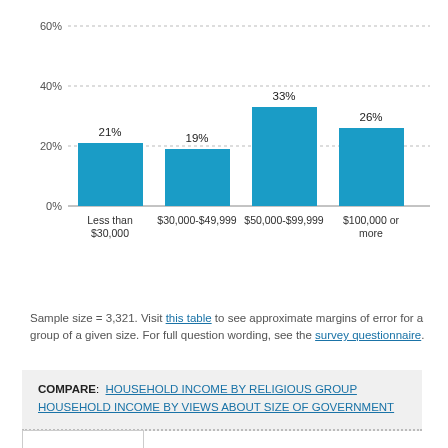[Figure (bar-chart): ]
Sample size = 3,321. Visit this table to see approximate margins of error for a group of a given size. For full question wording, see the survey questionnaire.
COMPARE: HOUSEHOLD INCOME BY RELIGIOUS GROUP   HOUSEHOLD INCOME BY VIEWS ABOUT SIZE OF GOVERNMENT